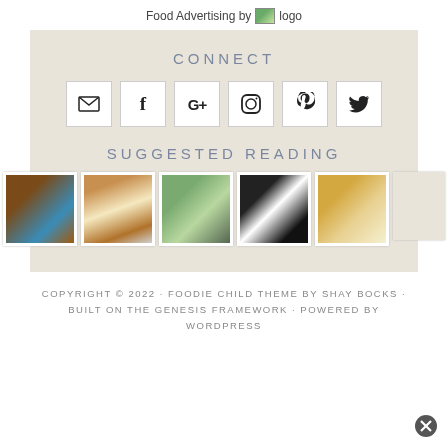Food Advertising by logo
CONNECT
[Figure (infographic): Six social media icon buttons: email, Facebook, Google+, Instagram, Pinterest, Twitter]
SUGGESTED READING
[Figure (photo): Five food photography thumbnails showing chocolate dessert, cookie, stacked cookies, milk and chocolate, and s'mores; plus one blank placeholder]
COPYRIGHT © 2022 · FOODIE CHILD THEME BY SHAY BOCKS · BUILT ON THE GENESIS FRAMEWORK · POWERED BY WORDPRESS